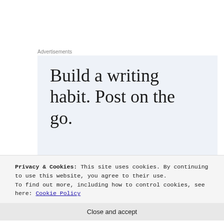Advertisements
[Figure (illustration): WordPress advertisement banner with light blue background. Large serif text reads 'Build a writing habit. Post on the go.' with a 'GET THE APP' call-to-action link and WordPress circular logo.]
Privacy & Cookies: This site uses cookies. By continuing to use this website, you agree to their use.
To find out more, including how to control cookies, see here: Cookie Policy
Close and accept
some illustrations of the characters, increasing overall